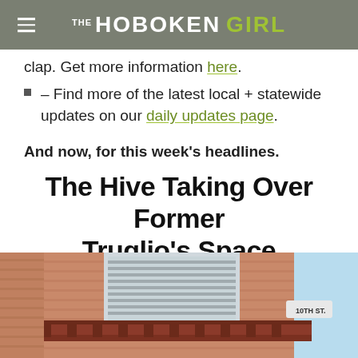THE HOBOKEN GIRL
clap. Get more information here.
– Find more of the latest local + statewide updates on our daily updates page.
And now, for this week's headlines.
The Hive Taking Over Former Truglio's Space
[Figure (photo): Street-level view of a brick building at a corner, showing window with blinds and a street sign reading 10th St, against a blue sky]